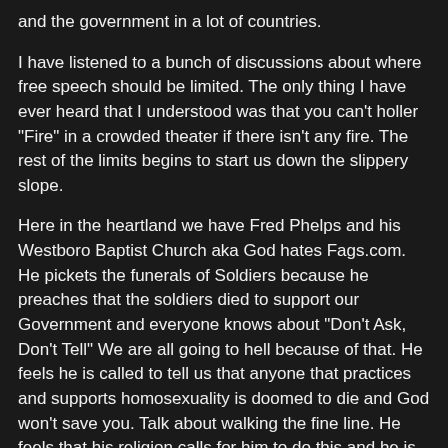and the government in a lot of countries.
I have listened to a bunch of discussions about where free speech should be limited. The only thing I have ever heard that I understood was that you can't holler "Fire" in a crowded theater if there isn't any fire. The rest of the limits begins to start us down the slippery slope.
Here in the heartland we have Fred Phelps and his Westboro Baptist Church aka God hates Fags.com. He pickets the funerals of Soldiers because he preaches that the soldiers died to support our Government and everyone knows about "Don't Ask, Don't Tell" We are all going to hell because of that. He feels he is called to tell us that anyone that practices and supports homosexuality is doomed to die and God won't save you. Talk about walking the fine line. He feels that his religion calls for him to do this and he is petitioning his Government with a grievance he feels wrong. Crap! I hate this but I'm not sure where the slippery slope starts and stops. Oh well, Article II later.
MUD